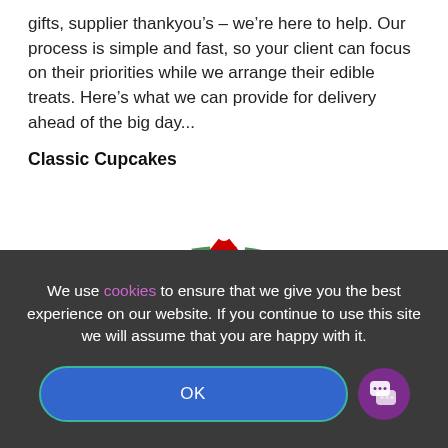gifts, supplier thankyou’s – we’re here to help. Our process is simple and fast, so your client can focus on their priorities while we arrange their edible treats. Here’s what we can provide for delivery ahead of the big day...
Classic Cupcakes
[Figure (illustration): A round cupcake or cookie with the AIA logo (gold and black wheel/tire logo) and a red Santa hat on top, on a white background with green Christmas wreath decoration around the edge, partially visible.]
We use cookies to ensure that we give you the best experience on our website. If you continue to use this site we will assume that you are happy with it.
OK